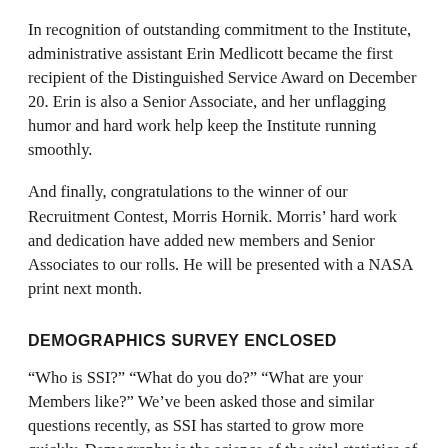In recognition of outstanding commitment to the Institute, administrative assistant Erin Medlicott became the first recipient of the Distinguished Service Award on December 20. Erin is also a Senior Associate, and her unflagging humor and hard work help keep the Institute running smoothly.
And finally, congratulations to the winner of our Recruitment Contest, Morris Hornik. Morris' hard work and dedication have added new members and Senior Associates to our rolls. He will be presented with a NASA print next month.
DEMOGRAPHICS SURVEY ENCLOSED
“Who is SSI?” “What do you do?” “What are your Members like?” We’ve been asked those and similar questions recently, as SSI has started to grow more quickly. Demography is the science of the vital statistics of populations (or Memberships),